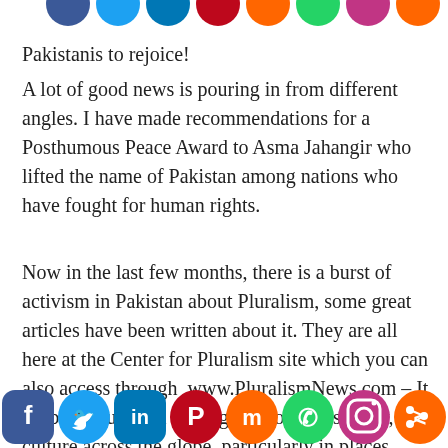[Figure (illustration): Row of colorful social media icon circles at the top of the page (Facebook, Twitter, LinkedIn, Pinterest, Mix, WhatsApp, Instagram, Share)]
Pakistanis to rejoice!
A lot of good news is pouring in from different angles. I have made recommendations for a Posthumous Peace Award to Asma Jahangir who lifted the name of Pakistan among nations who have fought for human rights.
Now in the last few months, there is a burst of activism in Pakistan about Pluralism, some great articles have been written about it. They are all here at the Center for Pluralism site which you can also access through  www.PluralismNews.com – It is about Pluralism in religion, politics, society, and culture across the globe, particularly in places where there are more than two or three religious,
[Figure (illustration): Row of colorful social media icon buttons at the bottom: Facebook (dark blue), Twitter (light blue), LinkedIn (blue), Pinterest (red), Mix (orange), WhatsApp (green), Instagram (pink/purple), Share (orange)]